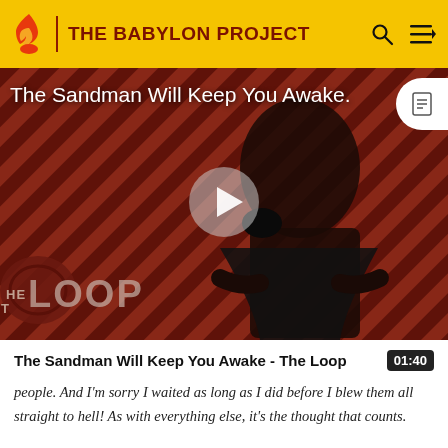THE BABYLON PROJECT
[Figure (screenshot): Video thumbnail showing The Sandman character in black cape against diagonal red and dark striped background, with THE LOOP watermark overlay, a play button in the center, and the title 'The Sandman Will Keep You Awake.' overlaid in white text at the top left.]
The Sandman Will Keep You Awake - The Loop
people. And I'm sorry I waited as long as I did before I blew them all straight to hell! As with everything else, it's the thought that counts.